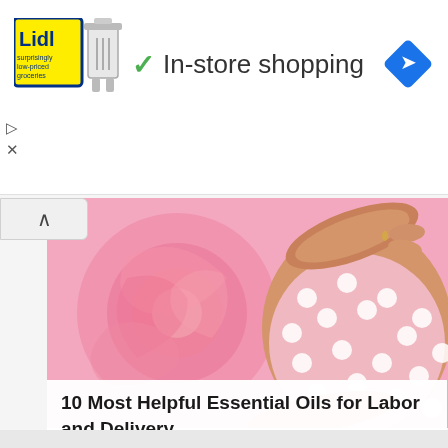[Figure (screenshot): Lidl grocery store advertisement banner with logo and trash can icon, showing 'In-store shopping' with green checkmark, and blue navigation diamond icon on the right]
[Figure (photo): Pregnant woman in pink polka dot dress holding her belly against a pink rose background]
10 Most Helpful Essential Oils for Labor and Delivery